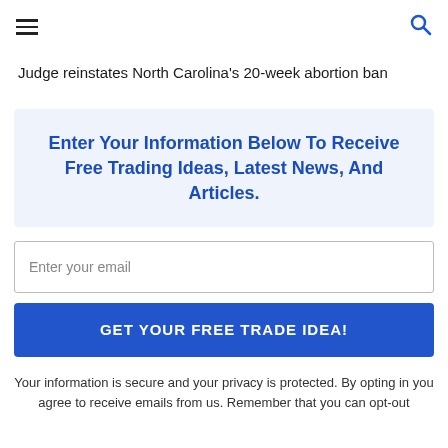☰  🔍
Judge reinstates North Carolina's 20-week abortion ban
Enter Your Information Below To Receive Free Trading Ideas, Latest News, And Articles.
Enter your email
GET YOUR FREE TRADE IDEA!
Your information is secure and your privacy is protected. By opting in you agree to receive emails from us. Remember that you can opt-out